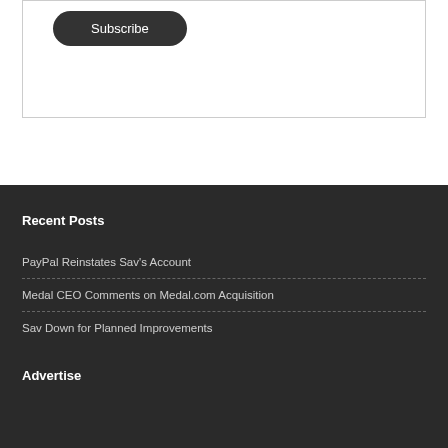[Figure (other): Subscribe button UI element — dark rounded pill-shaped button with text 'Subscribe' on white background inside a bordered box]
Recent Posts
PayPal Reinstates Sav's Account
Medal CEO Comments on Medal.com Acquisition
Sav Down for Planned Improvements
Advertise